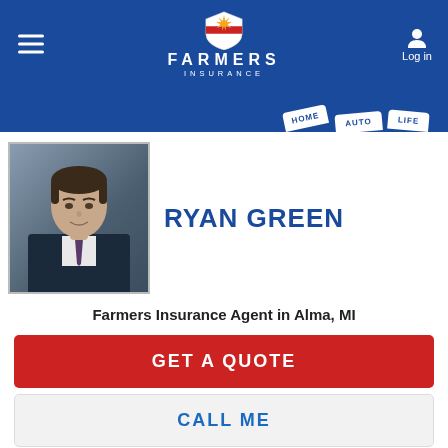[Figure (logo): Farmers Insurance logo with shield emblem, FARMERS text, and INSURANCE subtext on blue header bar]
[Figure (photo): Professional headshot photo of Ryan Green, a male insurance agent wearing a suit and tie, against a dark studio background]
RYAN GREEN
Farmers Insurance Agent in Alma, MI
GET A QUOTE
CALL ME
Farmers is committed to your privacy and security, learn more about our Personal Information Use
OKAY